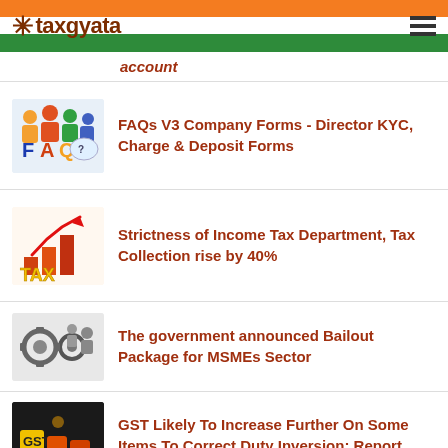*taxgyata
account
FAQs V3 Company Forms - Director KYC, Charge & Deposit Forms
Strictness of Income Tax Department, Tax Collection rise by 40%
The government announced Bailout Package for MSMEs Sector
GST Likely To Increase Further On Some Items To Correct Duty Inversion: Report